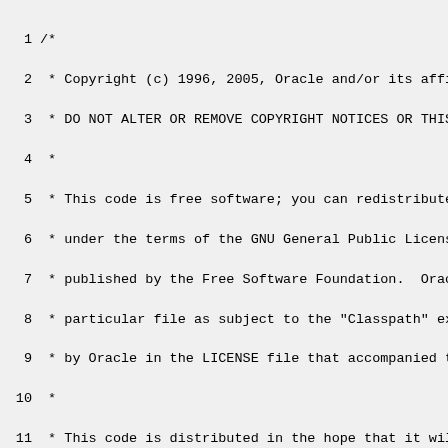Code listing: Java source file with copyright header and package declaration. Lines 1-29 shown. Lines 1-24: block comment with Oracle copyright (c) 1996, 2005, GNU GPL license notice, Classpath exception, warranty disclaimer, address (51 Franklin St, Fifth Floor, Boston, MA 02...), Oracle contact (500 Oracle Parkway, Redwood...), www.oracle.com. Line 26: package java.io; Line 28-29: /** JavaDoc comment start, '* This class implements a character buffer that ca...'